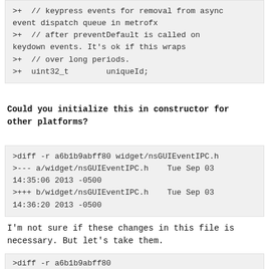>+  // keypress events for removal from async event dispatch queue in metrofx
>+  // after preventDefault is called on keydown events. It's ok if this wraps
>+  // over long periods.
>+  uint32_t        uniqueId;
Could you initialize this in constructor for other platforms?
>diff -r a6b1b9abff80 widget/nsGUIEventIPC.h
>--- a/widget/nsGUIEventIPC.h   Tue Sep 03 14:35:06 2013 -0500
>+++ b/widget/nsGUIEventIPC.h   Tue Sep 03 14:36:20 2013 -0500
I'm not sure if these changes in this file is necessary. But let's take them.
>diff -r a6b1b9abff80